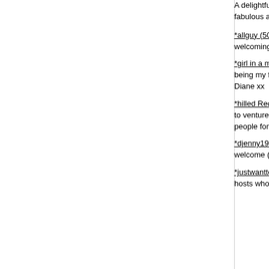A delightful and wonderful introduction to a scene I hope to visit again. An enlightening, enjoyable and hosts and a fabulous atmosphere. Hope to be invi and to experience other events too. Thank you xxx
*allguy (50), Man on 18 March 2019 by Meeting in I had another amazing time at the NBN party on S so welcoming and it is a relaxed atmosphere I wou go to there parties they are so good till next at time
*girl in a mask (54), TV/TS on 18 March 2019 by M Thank you to Playgrounds for organising an amaz Dunstable. being my first time out ever dressed I w was lovely and showed us newbies around the pla to see you again soon x Diane xx
*hilled Red (52), Woman on 17 March 2019 by Me Well, what a night! If anyone knows how to run a p I/we manage to venture here every 6 months but la from start to finish. Rod & his team are always so w of a huge variety of people for NBN and always so we will be back xxx
*djenny1991 (31), TV/TS on 17 March 2019 by Me Had the most AMAZING time at naughtybinature (& a warm welcome (& "first timer tour"), pleasant bar, pure debauchery. I even got on a stripper pole for
*justwantto (35), Couple on 17 March 2019 by Me If you've never been to a playgrounds event then y wonderful hosts who are always on hand and can't night exactly as it should be. Fun, naughty and rel